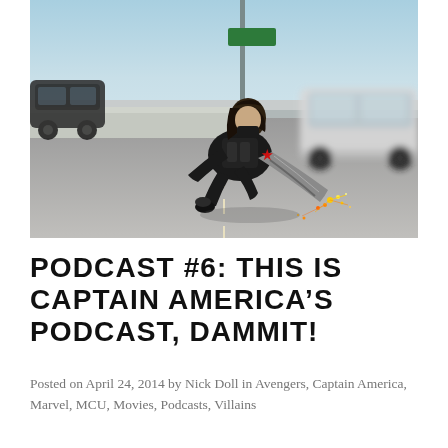[Figure (photo): A figure in dark tactical armor with a silver metallic arm (Winter Soldier) crouching low on a highway, sparks flying from the metallic arm dragging on the road surface. A white car is blurred in the background on the right, and a dark car is visible on the left. Clear blue sky above, concrete highway divider in the background.]
PODCAST #6: THIS IS CAPTAIN AMERICA'S PODCAST, DAMMIT!
Posted on April 24, 2014 by Nick Doll in Avengers, Captain America, Marvel, MCU, Movies, Podcasts, Villains